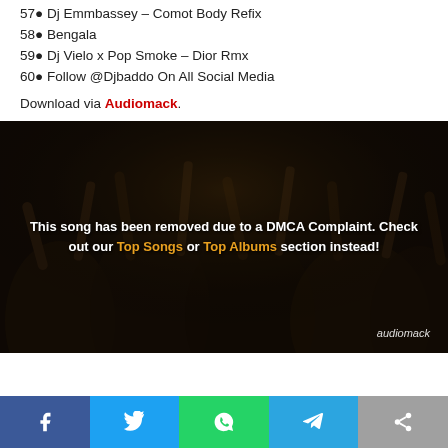57● Dj Emmbassey – Comot Body Refix
58● Bengala
59● Dj Vielo x Pop Smoke – Dior Rmx
60● Follow @Djbaddo On All Social Media
Download via Audiomack.
[Figure (photo): Dark crowd photo with DMCA removal notice overlay reading: 'This song has been removed due to a DMCA Complaint. Check out our Top Songs or Top Albums section instead!' with audiomack watermark in bottom right]
Facebook | Twitter | WhatsApp | Telegram | Share